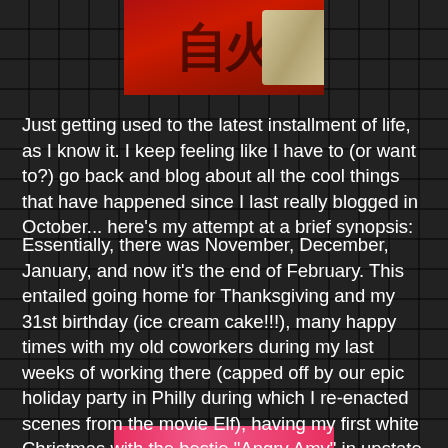[Figure (photo): Top portion of a photo showing red background with black kanji/Japanese characters and a scroll or paper element on the right side]
Just getting used to the latest installment of life, as I know it. I keep feeling like I have to (or want to?) go back and blog about all the cool things that have happened since I last really blogged in October... here's my attempt at a brief synopsis:
Essentially, there was November, December, January, and now it's the end of February. This entailed going home for Thanksgiving and my 31st birthday (ice cream cake!!!), many happy times with my old coworkers during my last weeks of working there (capped off by our epic holiday party in Philly during which I re-enacted scenes from the movie Elf), having my first white Christmas with the bestie "Angry Amy" in upstate NY (we made miniature snowmen, and a cake), moving to the nation's capital, starting my awesome new job at Walter Reed, going to inauguration, and learning my way around.
[Figure (photo): Bottom portion of a photo partially visible, appears to show a colorful image with pink/red tones]